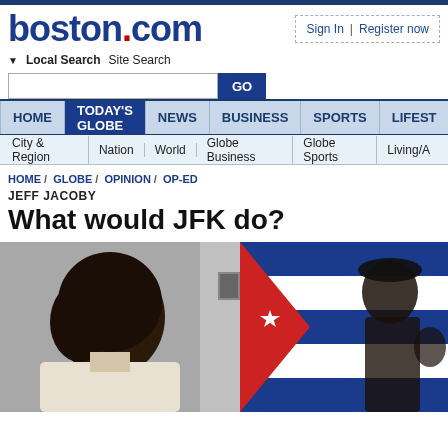boston.com
Sign In | Register now
Local Search  Site Search
HOME / TODAY'S GLOBE / NEWS / BUSINESS / SPORTS / LIFESTYLE
City & Region  Nation  World  Globe Business  Globe Sports  Living/Arts
HOME / GLOBE / OPINION / OP-ED
JEFF JACOBY
What would JFK do?
[Figure (photo): Photo showing a person from behind on the left and a Cuban flag with Che Guevara image on the right]